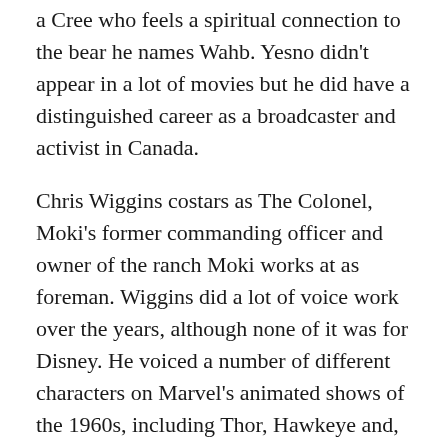a Cree who feels a spiritual connection to the bear he names Wahb. Yesno didn't appear in a lot of movies but he did have a distinguished career as a broadcaster and activist in Canada.
Chris Wiggins costars as The Colonel, Moki's former commanding officer and owner of the ranch Moki works at as foreman. Wiggins did a lot of voice work over the years, although none of it was for Disney. He voiced a number of different characters on Marvel's animated shows of the 1960s, including Thor, Hawkeye and, appropriately enough in this context, Kraven the Hunter. Horror fans may recognize him as occult expert Jack Marshak from Friday The 13th: The Series. Wiggins and Yesno would also both appear in the 1980 Canadian TV-movie The Courage Of Kavik The Wolf Dog (John Candy, who will eventually appear in this column